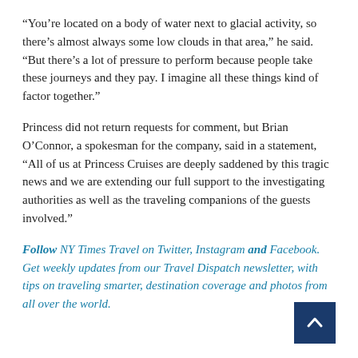“You’re located on a body of water next to glacial activity, so there’s almost always some low clouds in that area,” he said. “But there’s a lot of pressure to perform because people take these journeys and they pay. I imagine all these things kind of factor together.”
Princess did not return requests for comment, but Brian O’Connor, a spokesman for the company, said in a statement, “All of us at Princess Cruises are deeply saddened by this tragic news and we are extending our full support to the investigating authorities as well as the traveling companions of the guests involved.”
Follow NY Times Travel on Twitter, Instagram and Facebook. Get weekly updates from our Travel Dispatch newsletter, with tips on traveling smarter, destination coverage and photos from all over the world.